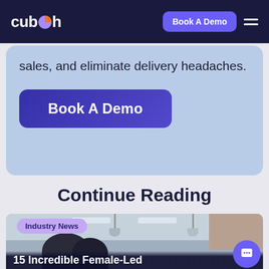cuboh — Book A Demo navigation bar
sales, and eliminate delivery headaches.
Book A Demo
Continue Reading
[Figure (photo): Article card photo showing people in a restaurant kitchen with pendant lamps; badge reads 'Industry News'; headline reads '15 Incredible Female-Led']